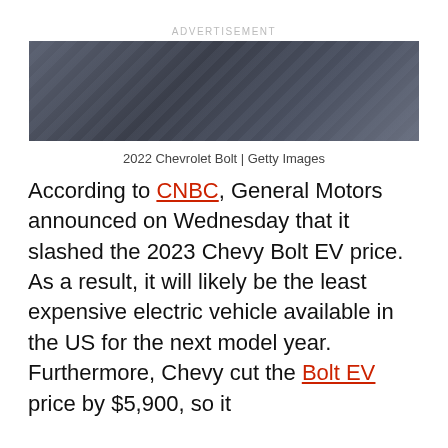ADVERTISEMENT
[Figure (photo): Dark metallic surface, likely car body panel — advertisement image for 2022 Chevrolet Bolt]
2022 Chevrolet Bolt | Getty Images
According to CNBC, General Motors announced on Wednesday that it slashed the 2023 Chevy Bolt EV price. As a result, it will likely be the least expensive electric vehicle available in the US for the next model year. Furthermore, Chevy cut the Bolt EV price by $5,900, so it starts at $26,757. Additionally, the larger Bolt